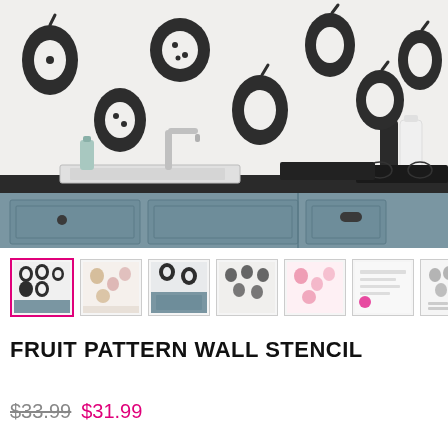[Figure (photo): Kitchen backsplash with black and white fruit (pear and pomegranate) stencil pattern on white wall, with gray-blue cabinets, white sink, chrome faucet, black countertop, and decorative bottles.]
[Figure (photo): Row of product thumbnail images: first selected with pink border showing fruit pattern stencil in black on white; subsequent thumbnails showing various colorways and instruction sheets.]
FRUIT PATTERN WALL STENCIL
$33.99  $31.99